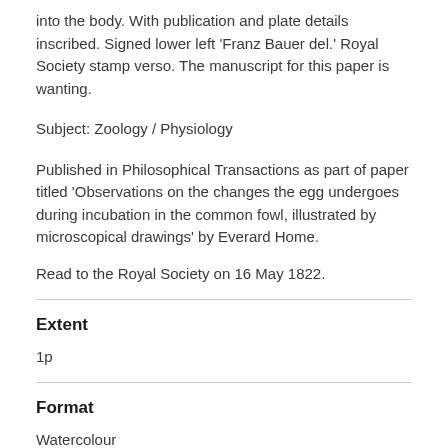into the body. With publication and plate details inscribed. Signed lower left 'Franz Bauer del.' Royal Society stamp verso. The manuscript for this paper is wanting.
Subject: Zoology / Physiology
Published in Philosophical Transactions as part of paper titled 'Observations on the changes the egg undergoes during incubation in the common fowl, illustrated by microscopical drawings' by Everard Home.
Read to the Royal Society on 16 May 1822.
Extent
1p
Format
Watercolour